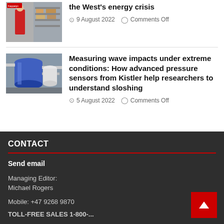[Figure (photo): Photo thumbnail of person in red jacket in industrial/warehouse setting]
the West's energy crisis
9 August 2022   Comments Off
[Figure (photo): Photo thumbnail of large industrial pressure vessel / blue cylindrical tank in laboratory setting]
Measuring wave impacts under extreme conditions: How advanced pressure sensors from Kistler help researchers to understand sloshing
5 August 2022   Comments Off
CONTACT
Send email
Managing Editor:
Michael Rogers
Mobile: +47 9268 9870
TOLL-FREE SALES 1-800-...